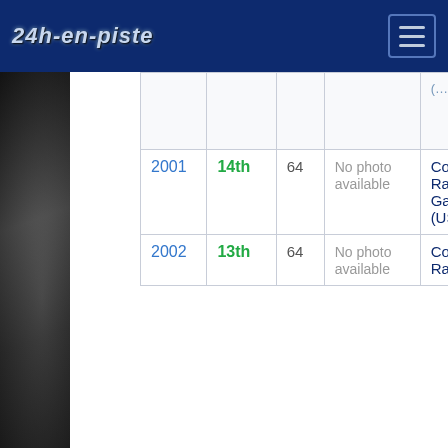24h-en-piste
| Year | Position | No. | Photo | Team |
| --- | --- | --- | --- | --- |
| 2001 | 14th | 64 | No photo available | Corvette Racing Gary Pr... (USA) |
| 2002 | 13th | 64 | No photo available | Corvette Racing... |